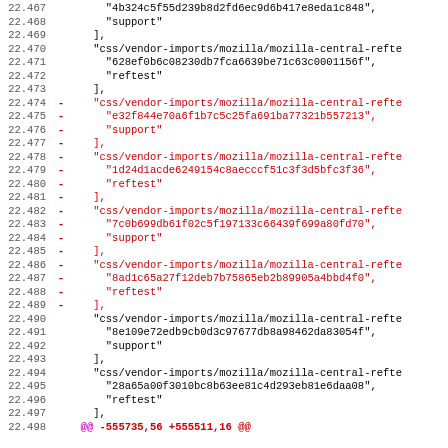Code diff showing lines 22.467–22.498 with additions and deletions in a CSS vendor imports file